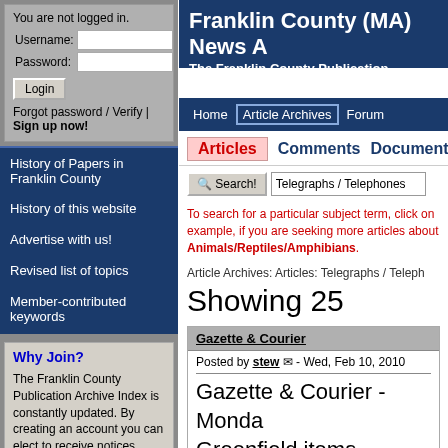You are not logged in.
Username: [input] Password: [input] Login Forgot password / Verify | Sign up now!
History of Papers in Franklin County
History of this website
Advertise with us!
Revised list of topics
Member-contributed keywords
Why Join?
The Franklin County Publication Archive Index is constantly updated. By creating an account you can elect to receive notices when new articles are added and when people comment on the
Franklin County (MA) News A
The Franklin County Publication Archive
Home  Article Archives  Forum
Articles   Comments   Documents
Search!  Telegraphs / Telephones
To search for a particular subject term, click on example, if you are seeking more articles about Animals/Reptiles/Amphibians.
Article Archives: Articles: Telegraphs / Teleph
Showing 25
Gazette & Courier
Posted by stew  - Wed, Feb 10, 2010
Gazette & Courier - Monda Greenfield items